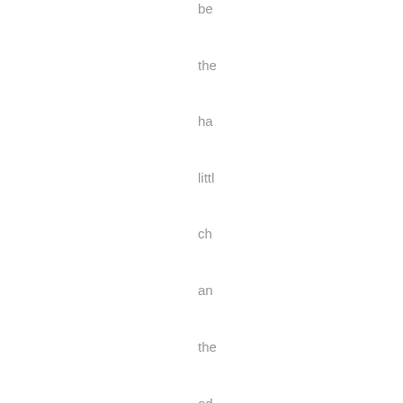be
the
ha
littl
ch
an
the
od
on
wa
fur
an
a
few
we
ins
Ho